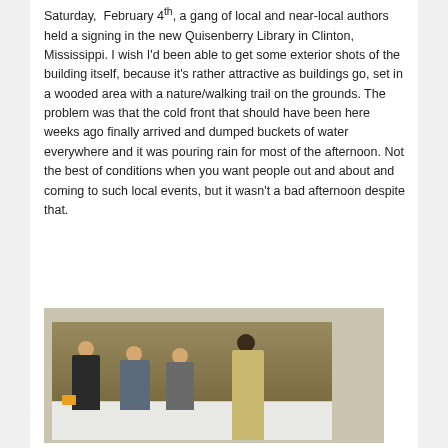Saturday, February 4th, a gang of local and near-local authors held a signing in the new Quisenberry Library in Clinton, Mississippi. I wish I'd been able to get some exterior shots of the building itself, because it's rather attractive as buildings go, set in a wooded area with a nature/walking trail on the grounds. The problem was that the cold front that should have been here weeks ago finally arrived and dumped buckets of water everywhere and it was pouring rain for most of the afternoon. Not the best of conditions when you want people out and about and coming to such local events, but it wasn't a bad afternoon despite that.
[Figure (photo): Indoor photo of authors at a book signing event, seated behind a table with a white tablecloth. Three people are seated and one person in a light-colored suit is standing facing them, with books visible on the table. Background is a tan/brown wall.]